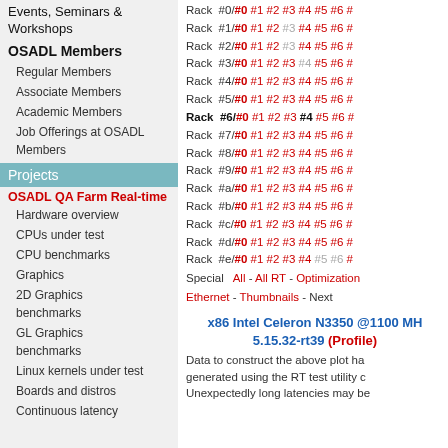Events, Seminars & Workshops
OSADL Members
Regular Members
Associate Members
Academic Members
Job Offerings at OSADL Members
Projects
OSADL QA Farm Real-time
Hardware overview
CPUs under test
CPU benchmarks
Graphics
2D Graphics benchmarks
GL Graphics benchmarks
Linux kernels under test
Boards and distros
Continuous latency
Rack #0/#0 #1 #2 #3 #4 #5 #6 #...
Rack #1/#0 #1 #2 #3 #4 #5 #6 #...
Rack #2/#0 #1 #2 #3 #4 #5 #6 #...
Rack #3/#0 #1 #2 #3 #4 #5 #6 #...
Rack #4/#0 #1 #2 #3 #4 #5 #6 #...
Rack #5/#0 #1 #2 #3 #4 #5 #6 #...
Rack #6/#0 #1 #2 #3 #4 #5 #6 #... (bold, current)
Rack #7/#0 #1 #2 #3 #4 #5 #6 #...
Rack #8/#0 #1 #2 #3 #4 #5 #6 #...
Rack #9/#0 #1 #2 #3 #4 #5 #6 #...
Rack #a/#0 #1 #2 #3 #4 #5 #6 #...
Rack #b/#0 #1 #2 #3 #4 #5 #6 #...
Rack #c/#0 #1 #2 #3 #4 #5 #6 #...
Rack #d/#0 #1 #2 #3 #4 #5 #6 #...
Rack #e/#0 #1 #2 #3 #4 #5 #6 #...
Special  All - All RT - Optimization - Ethernet - Thumbnails - Next
x86 Intel Celeron N3350 @1100 MHz 5.15.32-rt39 (Profile)
Data to construct the above plot ha... generated using the RT test utility c... Unexpectedly long latencies may be...